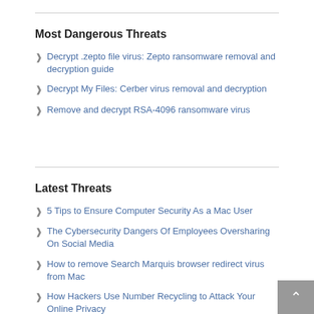Most Dangerous Threats
Decrypt .zepto file virus: Zepto ransomware removal and decryption guide
Decrypt My Files: Cerber virus removal and decryption
Remove and decrypt RSA-4096 ransomware virus
Latest Threats
5 Tips to Ensure Computer Security As a Mac User
The Cybersecurity Dangers Of Employees Oversharing On Social Media
How to remove Search Marquis browser redirect virus from Mac
How Hackers Use Number Recycling to Attack Your Online Privacy